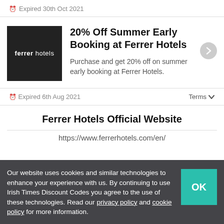🕐 Expired 30th Oct 2021
20% Off Summer Early Booking at Ferrer Hotels
Purchase and get 20% off on summer early booking at Ferrer Hotels.
🕐 Expired 6th Aug 2021   Terms ∨
Ferrer Hotels Official Website
https://www.ferrerhotels.com/en/
Our website uses cookies and similar technologies to enhance your experience with us. By continuing to use Irish Times Discount Codes you agree to the use of these technologies. Read our privacy policy and cookie policy for more information.